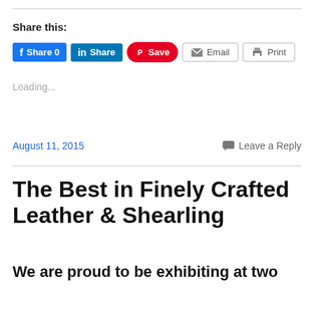Share this:
[Figure (other): Social share buttons: Facebook Share 0, LinkedIn Share, Pinterest Save, Email, Print]
Loading...
August 11, 2015
Leave a Reply
The Best in Finely Crafted Leather & Shearling
We are proud to be exhibiting at two